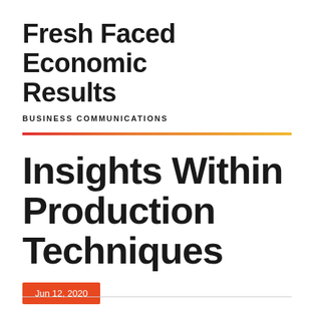Fresh Faced Economic Results
BUSINESS COMMUNICATIONS
Insights Within Production Techniques
Jun 12, 2020